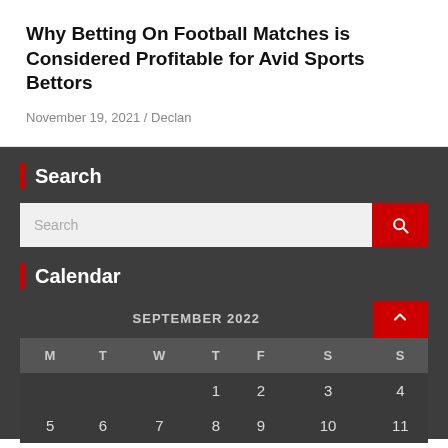Why Betting On Football Matches is Considered Profitable for Avid Sports Bettors
November 19, 2021 / Declan
Search
Calendar
| M | T | W | T | F | S | S |
| --- | --- | --- | --- | --- | --- | --- |
|  |  |  | 1 | 2 | 3 | 4 |
| 5 | 6 | 7 | 8 | 9 | 10 | 11 |